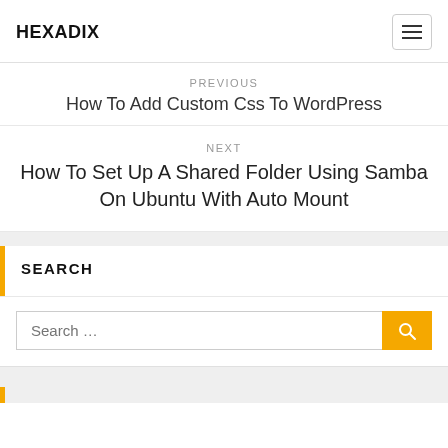HEXADIX
PREVIOUS
How To Add Custom Css To WordPress
NEXT
How To Set Up A Shared Folder Using Samba On Ubuntu With Auto Mount
SEARCH
Search ...